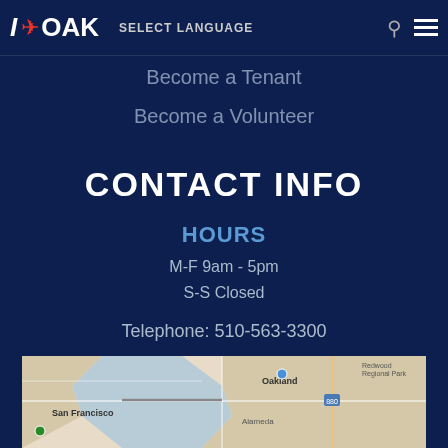I ✈ OAK  SELECT LANGUAGE
Become a Tenant
Become a Volunteer
CONTACT INFO
HOURS
M-F 9am - 5pm
S-S Closed
Telephone: 510-563-3300
1 Airport Dr
Oakland, CA 94621
[Figure (map): Google Maps view showing the San Francisco Bay Area including San Francisco, Oakland, and Alameda. Map colors show land in beige/yellow and water in blue-gray.]